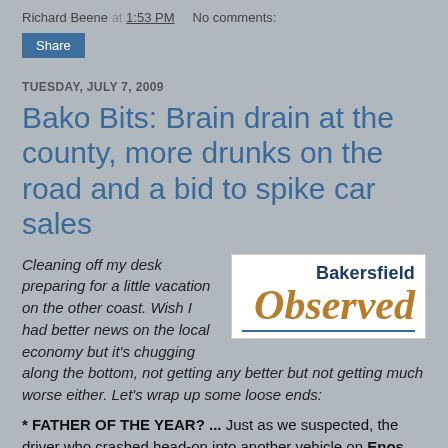Richard Beene at 1:53 PM   No comments:
Share
TUESDAY, JULY 7, 2009
Bako Bits: Brain drain at the county, more drunks on the road and a bid to spike car sales
[Figure (logo): Bakersfield Observed logo — blue bold 'Bakersfield' text above large gold italic 'Observed' text, with a blue rule beneath, on white background]
Cleaning off my desk preparing for a little vacation on the other coast. Wish I had better news on the local economy but it's chugging along the bottom, not getting any better but not getting much worse either. Let's wrap up some loose ends:
* FATHER OF THE YEAR? ... Just as we suspected, the driver who crashed head-on into another vehicle on Enos Lane on Sunday was drunk, according to the cops. And I